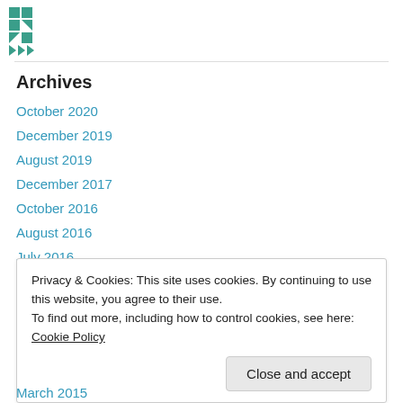[Figure (logo): Teal/green geometric quilt-pattern logo icon]
Archives
October 2020
December 2019
August 2019
December 2017
October 2016
August 2016
July 2016
October 2015
Privacy & Cookies: This site uses cookies. By continuing to use this website, you agree to their use.
To find out more, including how to control cookies, see here: Cookie Policy
March 2015